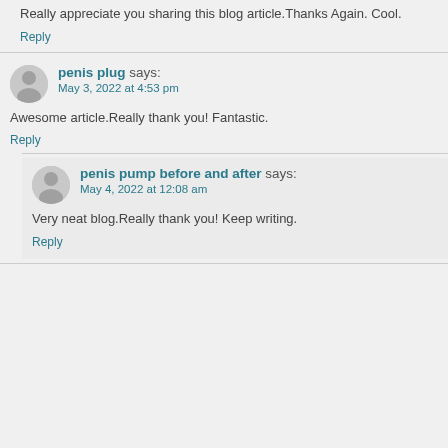Really appreciate you sharing this blog article.Thanks Again. Cool.
Reply
penis plug says: May 3, 2022 at 4:53 pm
Awesome article.Really thank you! Fantastic.
Reply
penis pump before and after says: May 4, 2022 at 12:08 am
Very neat blog.Really thank you! Keep writing.
Reply